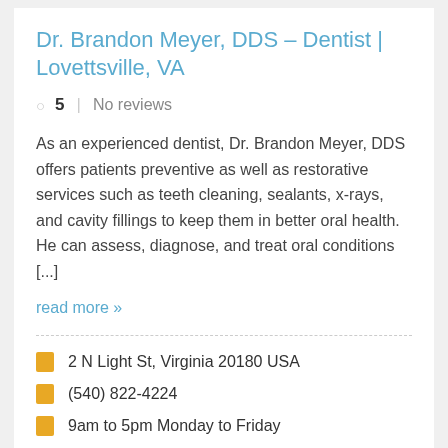Dr. Brandon Meyer, DDS – Dentist | Lovettsville, VA
5   No reviews
As an experienced dentist, Dr. Brandon Meyer, DDS offers patients preventive as well as restorative services such as teeth cleaning, sealants, x-rays, and cavity fillings to keep them in better oral health. He can assess, diagnose, and treat oral conditions [...]
read more »
2 N Light St, Virginia 20180 USA
(540) 822-4224
9am to 5pm Monday to Friday